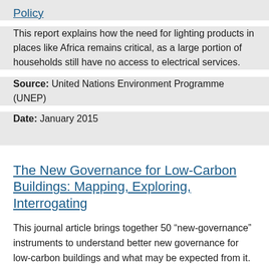Policy
This report explains how the need for lighting products in places like Africa remains critical, as a large portion of households still have no access to electrical services.
Source: United Nations Environment Programme (UNEP)
Date: January 2015
The New Governance for Low-Carbon Buildings: Mapping, Exploring, Interrogating
This journal article brings together 50 “new-governance” instruments to understand better new governance for low-carbon buildings and what may be expected from it. The authors find that new-governance instruments fall short in